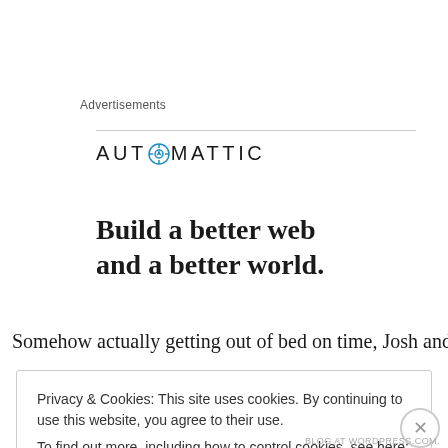Advertisements
[Figure (logo): Automattic logo with compass icon replacing the letter O]
Build a better web and a better world.
Somehow actually getting out of bed on time, Josh and I
Privacy & Cookies: This site uses cookies. By continuing to use this website, you agree to their use. To find out more, including how to control cookies, see here: Cookie Policy
Close and accept